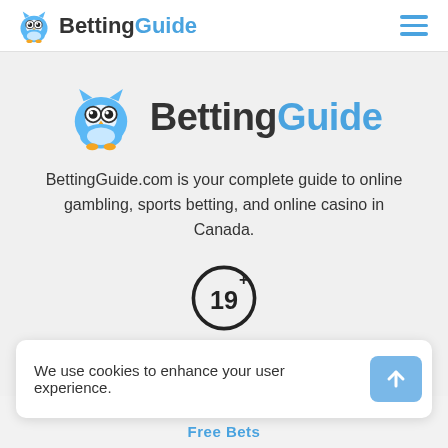BettingGuide
[Figure (logo): BettingGuide owl mascot logo with text 'BettingGuide' - large centered version]
BettingGuide.com is your complete guide to online gambling, sports betting, and online casino in Canada.
[Figure (other): 19+ age restriction badge circle]
[Figure (logo): iGaming Ontario logo]
We use cookies to enhance your user experience.
Free Bets